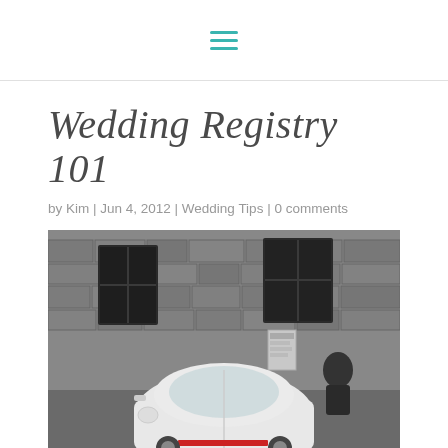≡ (hamburger menu)
Wedding Registry 101
by Kim | Jun 4, 2012 | Wedding Tips | 0 comments
[Figure (photo): Black and white photograph of a small vintage white car (likely an Isetta or similar microcar) parked in front of a stone building with dark windows. The car has a red accent. The image is partially visible, cropped at the bottom.]